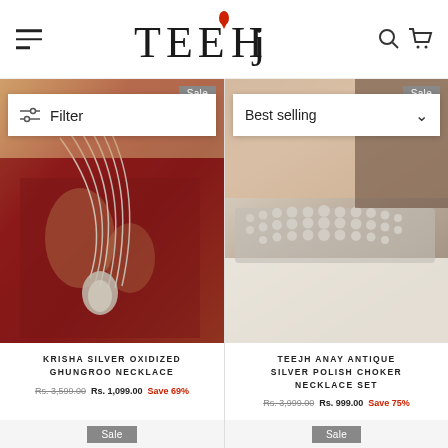TEEJH — navigation header with menu, logo, search and cart icons
[Figure (screenshot): Krisha Silver Oxidized Ghungroo Necklace product photo — woman in red saree wearing multi-strand silver necklace with Sale badge]
[Figure (screenshot): Teejh Anay Antique Silver Polish Choker Necklace Set product photo — woman wearing wide silver choker necklace with Sale badge]
KRISHA SILVER OXIDIZED GHUNGROO NECKLACE Rs. 3,599.00 Rs. 1,099.00 Save 69%
TEEJH ANAY ANTIQUE SILVER POLISH CHOKER NECKLACE SET Rs. 3,999.00 Rs. 999.00 Save 75%